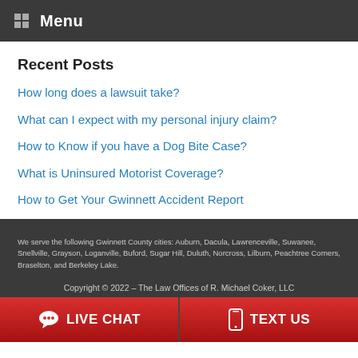Menu
Recent Posts
How long does a lawsuit take?
What can I expect with my personal injury claim?
How to Know if you have a Dog Bite Case?
What is Uninsured Motorist Coverage?
How to Get Your Gwinnett Accident Report
We serve the following Gwinnett County cities: Auburn, Dacula, Lawrenceville, Suwanee, Snellville, Grayson, Loganville, Buford, Sugar Hill, Duluth, Norcross, Lilburn, Peachtree Corners, Braselton, and Berkeley Lake.
Copyright © 2022 – The Law Offices of R. Michael Coker, LLC
LIVE CHAT
TEXT US